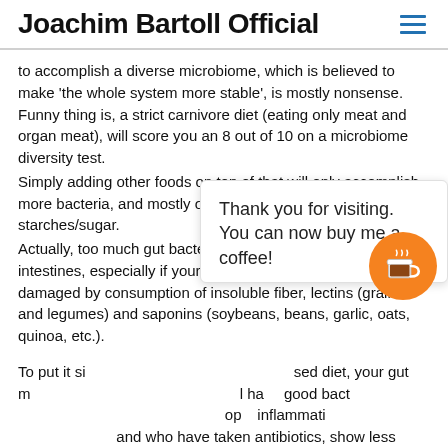Joachim Bartoll Official
to accomplish a diverse microbiome, which is believed to make 'the whole system more stable', is mostly nonsense. Funny thing is, a strict carnivore diet (eating only meat and organ meat), will score you an 8 out of 10 on a microbiome diversity test.
Simply adding other foods on top of that will only accomplish more bacteria, and mostly of the bad kind that feed on starches/sugar.
Actually, too much gut bacteria can be very harmful to your intestines, especially if your intestine walls have been damaged by consumption of insoluble fiber, lectins (grains and legumes) and saponins (soybeans, beans, garlic, oats, quinoa, etc.).
To put it si... sed diet, your gut m... I ha... good bact... eop... inflammati... and who have taken antibiotics, show less bacterial diversity than
[Figure (other): Popup overlay: 'Thank you for visiting. You can now buy me a coffee!' with an orange circular coffee cup button icon.]